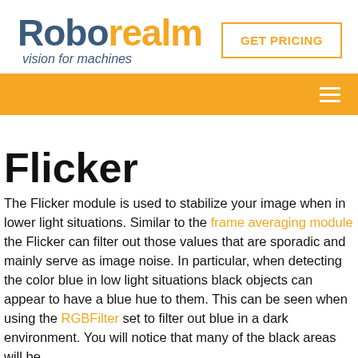[Figure (logo): RoboRealm logo with 'Robo' in dark blue bold and 'realm' in orange, tagline 'vision for machines' in italic dark blue below]
[Figure (other): GET PRICING button with orange border and orange text on white background]
[Figure (other): Orange navigation bar with white hamburger menu icon on the right]
Flicker
The Flicker module is used to stabilize your image when in lower light situations. Similar to the frame averaging module the Flicker can filter out those values that are sporadic and mainly serve as image noise. In particular, when detecting the color blue in low light situations black objects can appear to have a blue hue to them. This can be seen when using the RGBFilter set to filter out blue in a dark environment. You will notice that many of the black areas will be detected as having a blue component that flickers in the